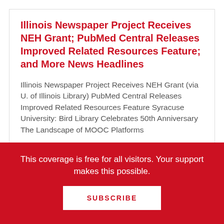Illinois Newspaper Project Receives NEH Grant; PubMed Central Releases Improved Related Resources Feature; and More News Headlines
Illinois Newspaper Project Receives NEH Grant (via U. of Illinois Library) PubMed Central Releases Improved Related Resources Feature Syracuse University: Bird Library Celebrates 50th Anniversary The Landscape of MOOC Platforms ...
California: "Should Libraries Be Part of
This coverage is free for all visitors. Your support makes this possible.
SUBSCRIBE